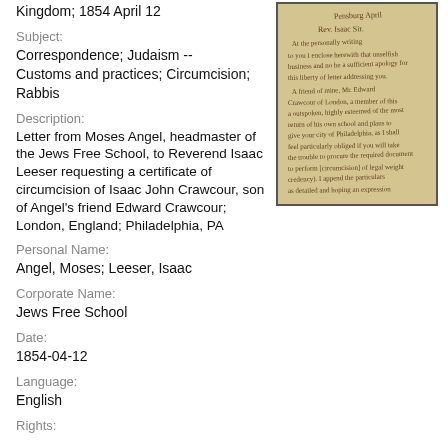Kingdom; 1854 April 12
Subject:
Correspondence; Judaism -- Customs and practices; Circumcision; Rabbis
Description:
Letter from Moses Angel, headmaster of the Jews Free School, to Reverend Isaac Leeser requesting a certificate of circumcision of Isaac John Crawcour, son of Angel's friend Edward Crawcour; London, England; Philadelphia, PA
[Figure (photo): Handwritten letter in cursive script on aged paper, showing several lines of handwriting]
Personal Name:
Angel, Moses; Leeser, Isaac
Corporate Name:
Jews Free School
Date:
1854-04-12
Language:
English
Rights: